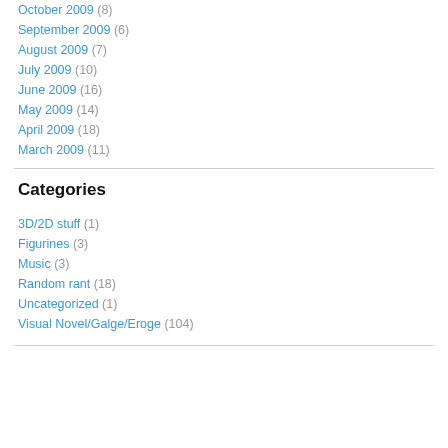October 2009 (8)
September 2009 (6)
August 2009 (7)
July 2009 (10)
June 2009 (16)
May 2009 (14)
April 2009 (18)
March 2009 (11)
Categories
3D/2D stuff (1)
Figurines (3)
Music (3)
Random rant (18)
Uncategorized (1)
Visual Novel/Galge/Eroge (104)